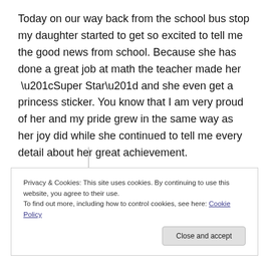Today on our way back from the school bus stop my daughter started to get so excited to tell me the good news from school. Because she has done a great job at math the teacher made her “Super Star” and she even get a princess sticker. You know that I am very proud of her and my pride grew in the same way as her joy did while she continued to tell me every detail about her great achievement.
Privacy & Cookies: This site uses cookies. By continuing to use this website, you agree to their use. To find out more, including how to control cookies, see here: Cookie Policy